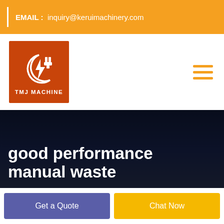EMAIL : inquiry@keruimachinery.com
[Figure (logo): TMJ MACHINE logo: orange/red square background with white plug icon and lightning bolt, text TMJ MACHINE below]
good performance manual waste
Get a Quote
Chat Now